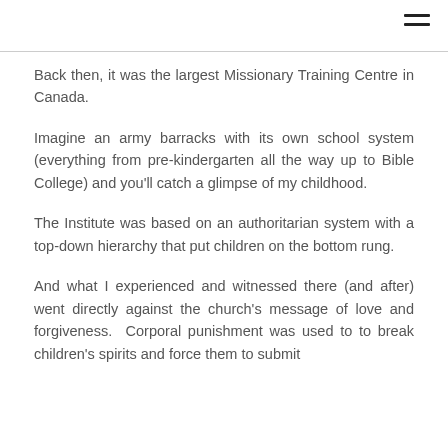Back then, it was the largest Missionary Training Centre in Canada.
Imagine an army barracks with its own school system (everything from pre-kindergarten all the way up to Bible College) and you'll catch a glimpse of my childhood.
The Institute was based on an authoritarian system with a top-down hierarchy that put children on the bottom rung.
And what I experienced and witnessed there (and after) went directly against the church's message of love and forgiveness. Corporal punishment was used to to break children's spirits and force them to submit